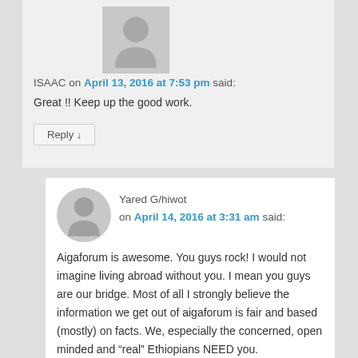[Figure (illustration): Gray default avatar icon for ISAAC comment]
ISAAC on April 13, 2016 at 7:53 pm said:
Great !! Keep up the good work.
Reply ↓
[Figure (illustration): Gray default avatar icon for Yared G/hiwot comment]
Yared G/hiwot on April 14, 2016 at 3:31 am said:
Aigaforum is awesome. You guys rock! I would not imagine living abroad without you. I mean you guys are our bridge. Most of all I strongly believe the information we get out of aigaforum is fair and based (mostly) on facts. We, especially the concerned, open minded and "real" Ethiopians NEED you.
PLEASE, keep up the excellent job!
We love and appreciate you